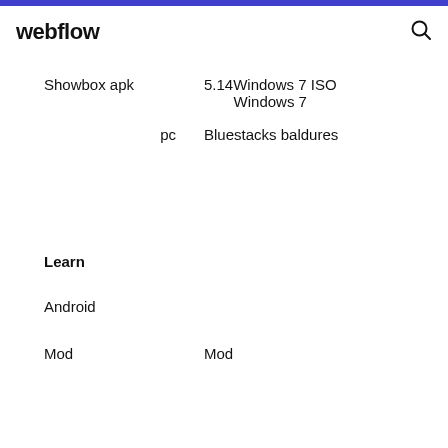webflow
Showbox apk    5.14Windows 7 ISO
                   Windows 7
pc    Bluestacks baldures
Learn
Android
Mod    Mod